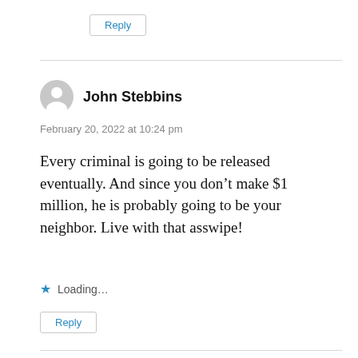Reply
John Stebbins
February 20, 2022 at 10:24 pm
Every criminal is going to be released eventually. And since you don’t make $1 million, he is probably going to be your neighbor. Live with that asswipe!
Loading...
Reply